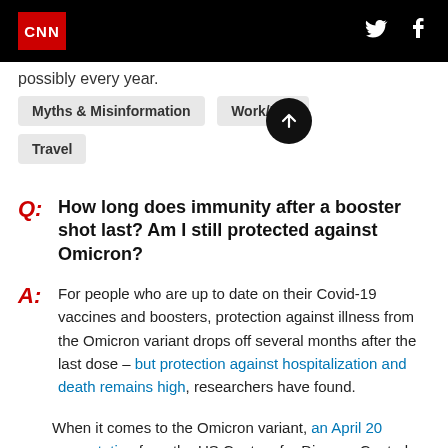CNN
possibly every year.
Myths & Misinformation
Work/Life
Travel
Q: How long does immunity after a booster shot last? Am I still protected against Omicron?
A: For people who are up to date on their Covid-19 vaccines and boosters, protection against illness from the Omicron variant drops off several months after the last dose – but protection against hospitalization and death remains high, researchers have found.
When it comes to the Omicron variant, an April 20 presentation from the US Centers for Disease Control and Prevention shown that after 2 to 4 months: